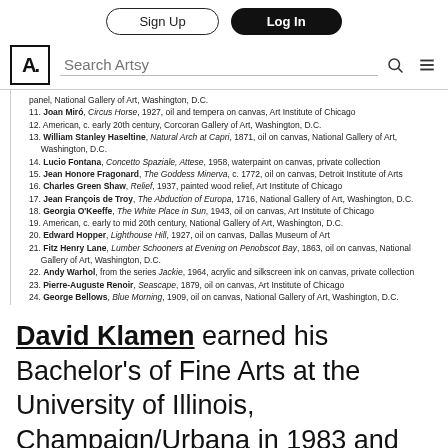Sign Up | Log In
Search Artsy
panel, National Gallery of Art, Washington, D.C.
11. Joan Miró, Circus Horse, 1927, oil and tempera on canvas, Art Institute of Chicago
12. American, c. early 20th century, Corcoran Gallery of Art, Washington, D.C.
13. William Stanley Haseltine, Natural Arch at Capri, 1871, oil on canvas, National Gallery of Art, Washington, D.C.
14. Lucio Fontana, Concetto Spaziale, Attese, 1958, waterpaint on canvas, private collection
15. Jean Honore Fragonard, The Goddess Minerva, c. 1772, oil on canvas, Detroit Institute of Arts
16. Charles Green Shaw, Relief, 1937, painted wood relief, Art Institute of Chicago
17. Jean François de Troy, The Abduction of Europa, 1716, National Gallery of Art, Washington, D.C.
18. Georgia O'Keeffe, The White Place in Sun, 1943, oil on canvas, Art Institute of Chicago
19. American, c. early to mid 20th century, National Gallery of Art, Washington, D.C.
20. Edward Hopper, Lighthouse Hill, 1927, oil on canvas, Dallas Museum of Art
21. Fitz Henry Lane, Lumber Schooners at Evening on Penobscot Bay, 1863, oil on canvas, National Gallery of Art, Washington, D.C.
22. Andy Warhol, from the series Jackie, 1964, acrylic and silkscreen ink on canvas, private collection
23. Pierre-Auguste Renoir, Seascape, 1879, oil on canvas, Art Institute of Chicago
24. George Bellows, Blue Morning, 1909, oil on canvas, National Gallery of Art, Washington, D.C.
David Klamen earned his Bachelor's of Fine Arts at the University of Illinois, Champaign/Urbana in 1983 and his Master's